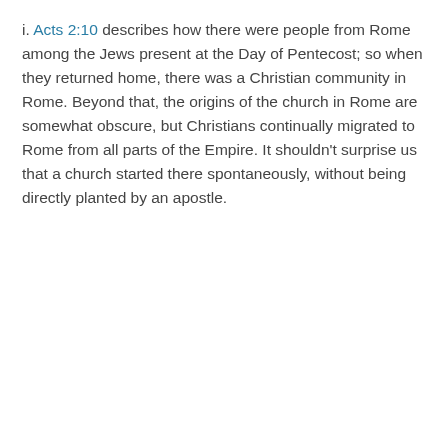i. Acts 2:10 describes how there were people from Rome among the Jews present at the Day of Pentecost; so when they returned home, there was a Christian community in Rome. Beyond that, the origins of the church in Rome are somewhat obscure, but Christians continually migrated to Rome from all parts of the Empire. It shouldn't surprise us that a church started there spontaneously, without being directly planted by an apostle.
ii. Even so, through mutual acquaintances or through his travels, Paul knew many of the Christians in Rome by name because he mentions them in Romans 16. Even if Paul only knew them through a Christian by acquaintance, he knew two things about
Our website uses cookies to store user preferences. By proceeding, you consent to our cookie usage. Please see our Privacy Policy for cookie usage details.